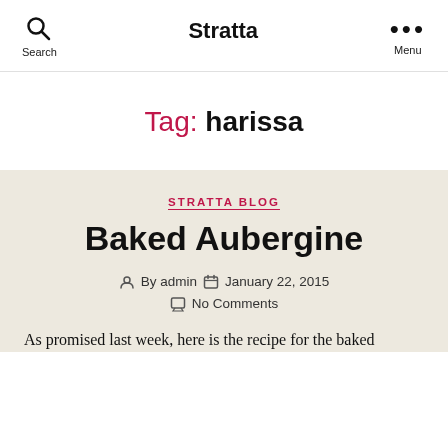Search  Stratta  Menu
Tag: harissa
STRATTA BLOG
Baked Aubergine
By admin   January 22, 2015   No Comments
As promised last week, here is the recipe for the baked